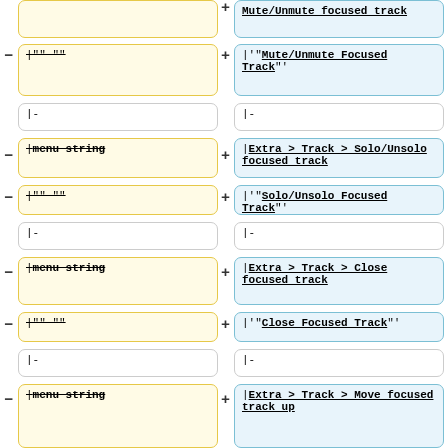|menu string (strikethrough, left col, row1)
|"" "" (strikethrough, left col, row2)
|- (left col, row3)
|menu string (strikethrough, left col, row4)
|"" "" (strikethrough, left col, row5)
|- (left col, row6)
|menu string (strikethrough, left col, row7)
|"" "" (strikethrough, left col, row8)
|- (left col, row9)
|menu string (strikethrough, left col, row10)
Mute/Unmute focused track (right col, row1 header)
|'"Mute/Unmute Focused Track"' (right col, row2)
|- (right col, row3)
|Extra > Track > Solo/Unsolo focused track (right col, row4)
|'"Solo/Unsolo Focused Track"' (right col, row5)
|- (right col, row6)
|Extra > Track > Close focused track (right col, row7)
|'"Close Focused Track"' (right col, row8)
|- (right col, row9)
|Extra > Track > Move focused track up (right col, row10)